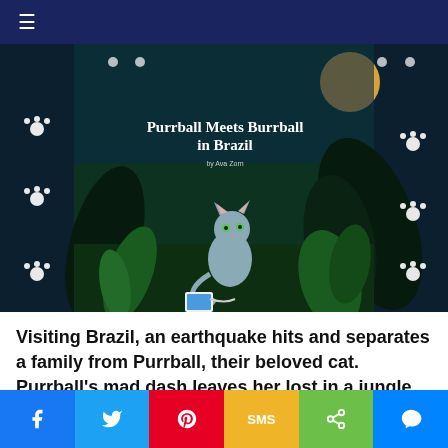≡
[Figure (illustration): Book cover of 'Purrball Meets Burrball in Brazil' showing an illustrated blue-grey cat in a jungle at night with a full moon, paw print decorations on the sides, and a phone/tablet on the ground]
Visiting Brazil, an earthquake hits and separates a family from Purrball, their beloved cat. Purrball's mad dash leaves her lost in a jungle where she becomes fast friends with a very clever sloth named Burrball
f  🐦  ⓟ  SMS  ≮  𝐦